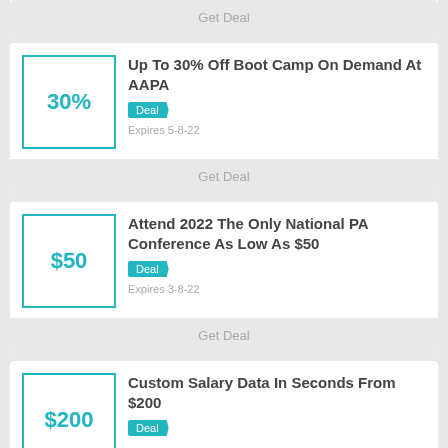Get Deal
Up To 30% Off Boot Camp On Demand At AAPA
Deal
Expires 5-8-22
Get Deal
Attend 2022 The Only National PA Conference As Low As $50
Deal
Expires 3-8-22
Get Deal
Custom Salary Data In Seconds From $200
Deal